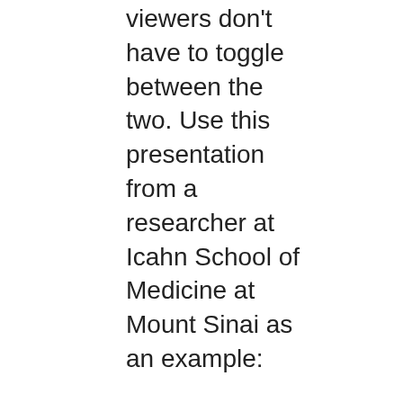viewers don't have to toggle between the two. Use this presentation from a researcher at Icahn School of Medicine at Mount Sinai as an example: